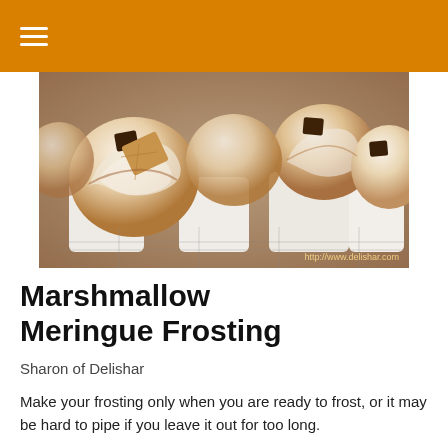≡
[Figure (photo): Cupcakes topped with swirled marshmallow meringue frosting and graham crackers and chocolate pieces, watermark reads http://www.delishar.com]
Marshmallow Meringue Frosting
Sharon of Delishar
Make your frosting only when you are ready to frost, or it may be hard to pipe if you leave it out for too long.